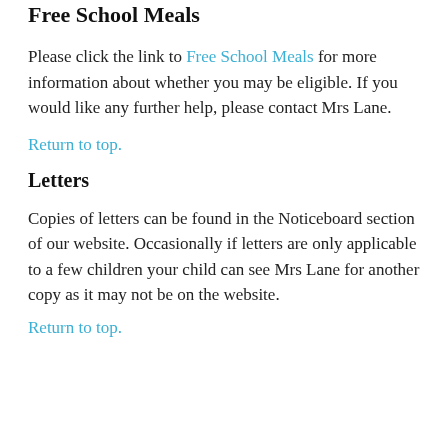Free School Meals
Please click the link to Free School Meals for more information about whether you may be eligible. If you would like any further help, please contact Mrs Lane.
Return to top.
Letters
Copies of letters can be found in the Noticeboard section of our website. Occasionally if letters are only applicable to a few children your child can see Mrs Lane for another copy as it may not be on the website.
Return to top.